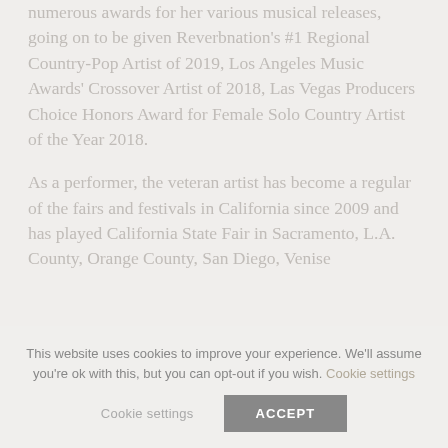numerous awards for her various musical releases, going on to be given Reverbnation's #1 Regional Country-Pop Artist of 2019, Los Angeles Music Awards' Crossover Artist of 2018, Las Vegas Producers Choice Honors Award for Female Solo Country Artist of the Year 2018.
As a performer, the veteran artist has become a regular of the fairs and festivals in California since 2009 and has played California State Fair in Sacramento, L.A. County, Orange County, San Diego, Venise...
This website uses cookies to improve your experience. We'll assume you're ok with this, but you can opt-out if you wish. Cookie settings  ACCEPT